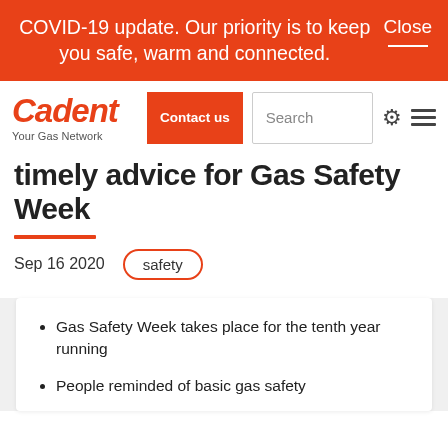COVID-19 update. Our priority is to keep you safe, warm and connected. Close
[Figure (logo): Cadent - Your Gas Network logo in red/orange italic font]
timely advice for Gas Safety Week
Sep 16 2020   safety
Gas Safety Week takes place for the tenth year running
People reminded of basic gas safety